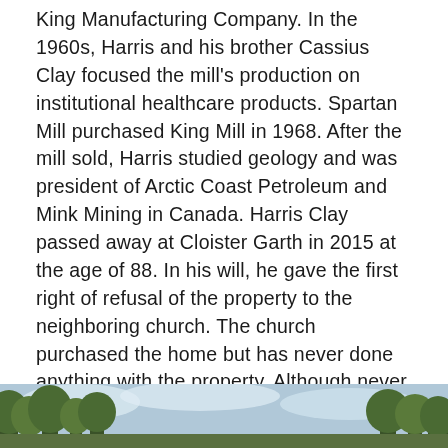King Manufacturing Company. In the 1960s, Harris and his brother Cassius Clay focused the mill's production on institutional healthcare products. Spartan Mill purchased King Mill in 1968. After the mill sold, Harris studied geology and was president of Arctic Coast Petroleum and Mink Mining in Canada. Harris Clay passed away at Cloister Garth in 2015 at the age of 88. In his will, he gave the first right of refusal of the property to the neighboring church. The church purchased the home but has never done anything with the property. Although never abandoned, the home has sat vacant since 2015 and remains one of the only unrestored late 19th century mansions in Georgia. The church has listed the home for sale with an asking price of $1.5 million. After sitting on the market for several years, the property finally sold in April 2022.
[Figure (photo): Partial photo of a property, visible at the bottom of the page — shows trees and sky, cropped.]